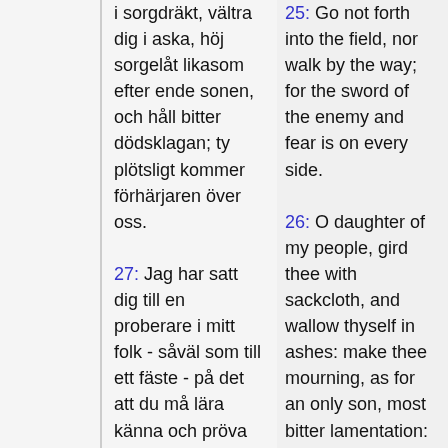i sorgdräkt, vältra dig i aska, höj sorgelåt likasom efter ende sonen, och håll bitter dödsklagan; ty plötsligt kommer förhärjaren över oss.
27: Jag har satt dig till en proberare i mitt folk - såväl som till ett fäste - på det att du må lära känna och pröva deras väg.
28: De äro
25: Go not forth into the field, nor walk by the way; for the sword of the enemy and fear is on every side.
26: O daughter of my people, gird thee with sackcloth, and wallow thyself in ashes: make thee mourning, as for an only son, most bitter lamentation: for the spoiler shall suddenly come upon us.
27: I have set